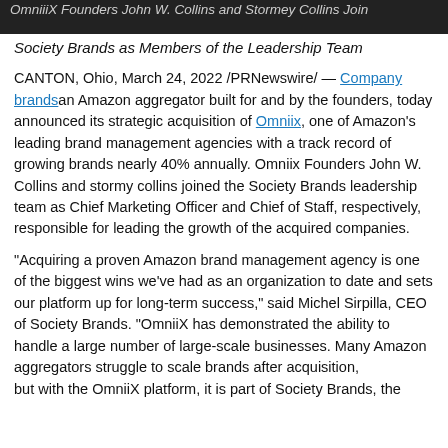OmniX Founders John W. Collins and Stormey Collins Join Society Brands as Members of the Leadership Team
OmniX Founders John W. Collins and Stormey Collins Join Society Brands as Members of the Leadership Team
CANTON, Ohio, March 24, 2022 /PRNewswire/ — Company brands an Amazon aggregator built for and by the founders, today announced its strategic acquisition of Omniix, one of Amazon's leading brand management agencies with a track record of growing brands nearly 40% annually. Omniix Founders John W. Collins and stormy collins joined the Society Brands leadership team as Chief Marketing Officer and Chief of Staff, respectively, responsible for leading the growth of the acquired companies.
“Acquiring a proven Amazon brand management agency is one of the biggest wins we've had as an organization to date and sets our platform up for long-term success,” said Michel Sirpilla, CEO of Society Brands. “OmniiX has demonstrated the ability to handle a large number of large-scale businesses. Many Amazon aggregators struggle to scale brands after acquisition, but with the OmniiX platform, it is part of Society Brands, the...